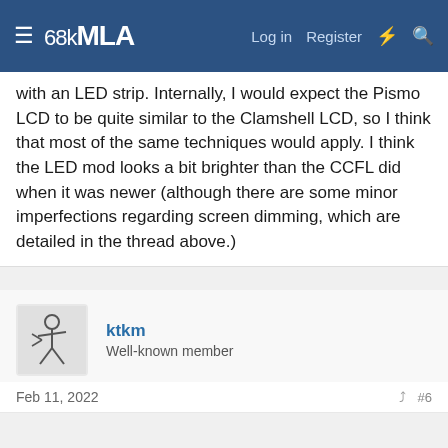68kMLA — Log in | Register
with an LED strip. Internally, I would expect the Pismo LCD to be quite similar to the Clamshell LCD, so I think that most of the same techniques would apply. I think the LED mod looks a bit brighter than the CCFL did when it was newer (although there are some minor imperfections regarding screen dimming, which are detailed in the thread above.)
ktkm — Well-known member
Feb 11, 2022 — #6
Congratulation! All the boards inside are pretty easily swappable, for instance, I had the soundboard replaced in mine a couple of weeks ago.
kitsunesoba said: ↑ A working battery would be nice but the prices on eBay are kinda nuts, even for "untested" units that are total gambles. Is there